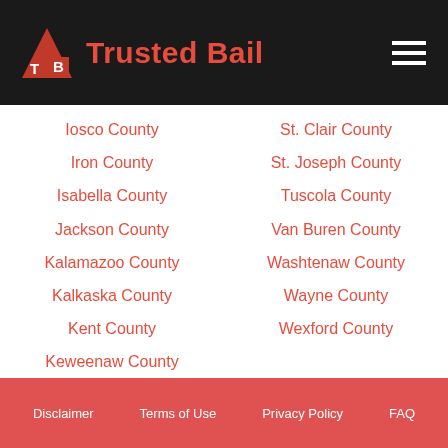Trusted Bail
Iosco County
Iron County
Isabella County
Jackson County
Kalamazoo County
Kalkaska County
Kent County
Keweenaw County
St. Clair County
St. Joseph County
Tuscola County
Van Buren County
Washtenaw County
Wayne County
Wexford County
Disclaimer   Terms of Use   Privacy Policy   FAQ